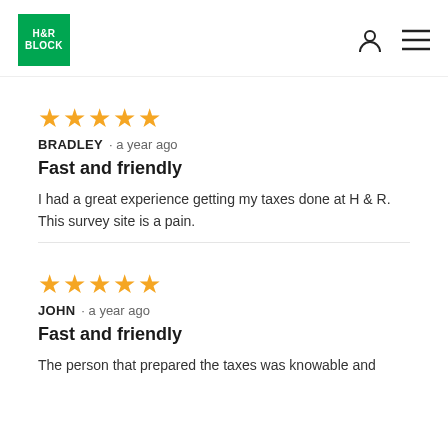H&R BLOCK
★★★★★
BRADLEY · a year ago
Fast and friendly
I had a great experience getting my taxes done at H & R. This survey site is a pain.
★★★★★
JOHN · a year ago
Fast and friendly
The person that prepared the taxes was knowable and